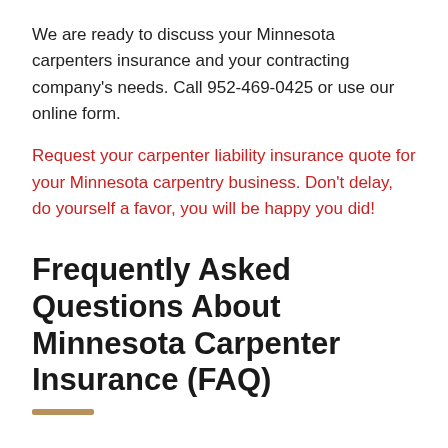We are ready to discuss your Minnesota carpenters insurance and your contracting company's needs. Call 952-469-0425 or use our online form.
Request your carpenter liability insurance quote for your Minnesota carpentry business. Don't delay, do yourself a favor, you will be happy you did!
Frequently Asked Questions About Minnesota Carpenter Insurance (FAQ)
Q- What insurance do I need for my carpentry business?